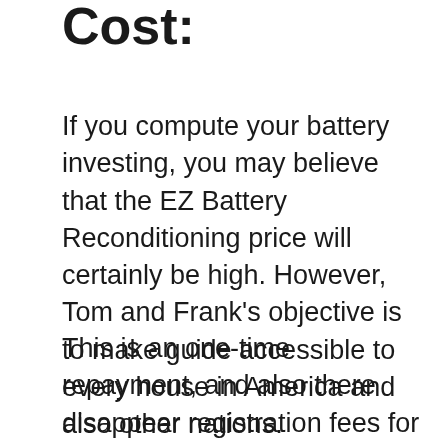Cost:
If you compute your battery investing, you may believe that the EZ Battery Reconditioning price will certainly be high. However, Tom and Frank’s objective is to make guide accessible to every house in America and also other nations. Maintaining that in mind, they valued it moderately, price just $47, and also obtain the life time access to and future enhancements.
This is an one-time repayment, and also there disappear registration fees for future updates or rewards. You will get a 60-day money-back warranty as well. If you don’t